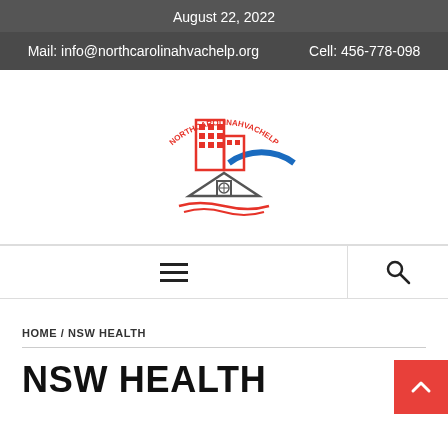August 22, 2022
Mail: info@northcarolinahvachelp.org    Cell: 456-778-098
[Figure (logo): NORTHCAROLINAHVACHELP logo with red building, house with compass rose, red curved text arc reading NORTHCAROLINAHVACHELP, and blue arc]
Hamburger menu icon and search icon navigation bar
HOME / NSW HEALTH
NSW HEALTH